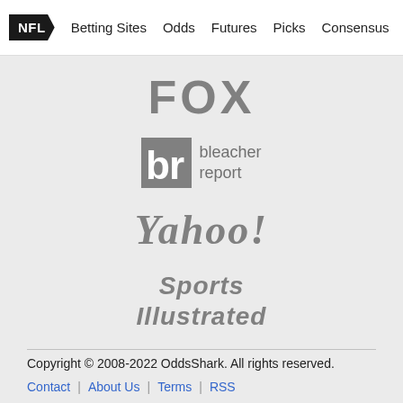NFL  Betting Sites  Odds  Futures  Picks  Consensus  Ma...
[Figure (logo): FOX logo in gray]
[Figure (logo): Bleacher Report logo in gray with 'br' icon]
[Figure (logo): Yahoo! logo in gray italic serif]
[Figure (logo): Sports Illustrated logo in gray bold italic]
Copyright © 2008-2022 OddsShark. All rights reserved.
Contact  |  About Us  |  Terms  |  RSS